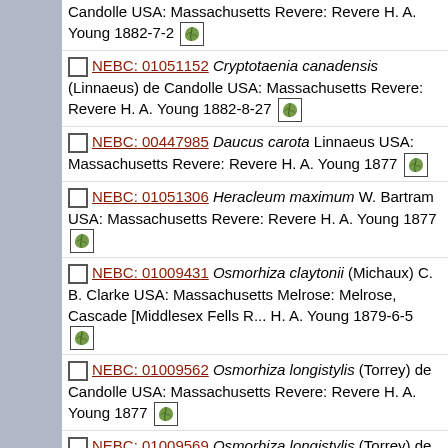Candolle USA: Massachusetts Revere: Revere H. A. Young 1882-7-2 [leaf icon]
NEBC: 01051152 Cryptotaenia canadensis (Linnaeus) de Candolle USA: Massachusetts Revere: Revere H. A. Young 1882-8-27 [leaf icon]
NEBC: 00447985 Daucus carota Linnaeus USA: Massachusetts Revere: Revere H. A. Young 1877 [leaf icon]
NEBC: 01051306 Heracleum maximum W. Bartram USA: Massachusetts Revere: Revere H. A. Young 1877 [leaf icon]
NEBC: 01009431 Osmorhiza claytonii (Michaux) C. B. Clarke USA: Massachusetts Melrose: Melrose, Cascade [Middlesex Fells R... H. A. Young 1879-6-5 [leaf icon]
NEBC: 01009562 Osmorhiza longistylis (Torrey) de Candolle USA: Massachusetts Revere: Revere H. A. Young 1877 [leaf icon]
NEBC: 01009569 Osmorhiza longistylis (Torrey) de Candolle USA: Massachusetts Revere: Revere H. A. Young 1882-6-18 [leaf icon]
NEBC: 01009099 Panax trifolius Linnaeus USA: Massachusetts Malden: Malden H. A. Young 1877 [leaf icon]